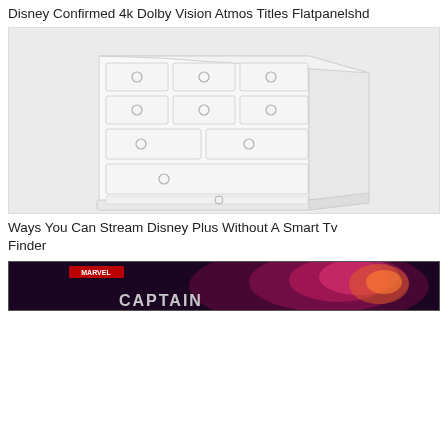Disney Confirmed 4k Dolby Vision Atmos Titles Flatpanelshd
[Figure (photo): A white dresser/chest of drawers with multiple drawers and round knobs, shown in a perspective view against a light background.]
Ways You Can Stream Disney Plus Without A Smart Tv Finder
[Figure (photo): Partial view of a Marvel movie promotional image, appears to be Captain Marvel or similar superhero film with glowing purple/red energy effects.]